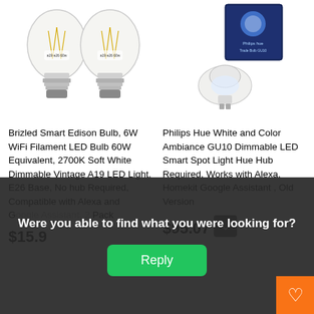[Figure (photo): Two Brizled Smart Edison filament LED bulbs with E26 base, white background]
[Figure (photo): Philips Hue GU10 smart spot light bulb with product packaging box, white background]
Brizled Smart Edison Bulb, 6W WiFi Filament LED Bulb 60W Equivalent, 2700K Soft White Dimmable Vintage A19 LED Light, E26 Base, No hub Required, Compatible with Alexa and Google Assistant, 2 Pack
Philips Hue White and Color Ambiance GU10 Dimmable LED Smart Spot Light Hue Hub Required, Works with Alexa, Homekit Google Assistant , Old Version
$15.9
$95.07
Were you able to find what you were looking for?
Reply